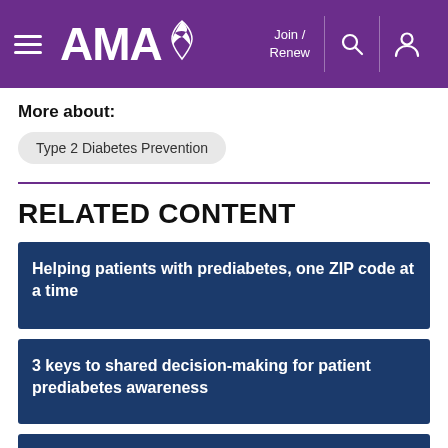AMA — Join / Renew
More about:
Type 2 Diabetes Prevention
RELATED CONTENT
Helping patients with prediabetes, one ZIP code at a time
3 keys to shared decision-making for patient prediabetes awareness
Patients can follow these steps to help reverse